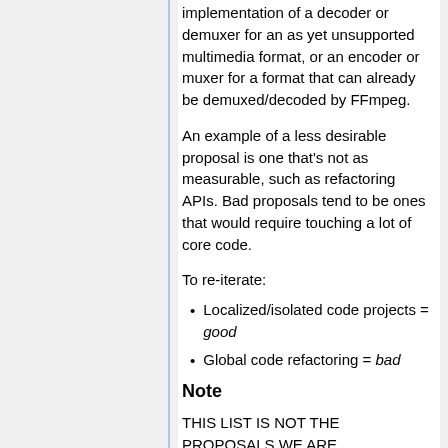implementation of a decoder or demuxer for an as yet unsupported multimedia format, or an encoder or muxer for a format that can already be demuxed/decoded by FFmpeg.
An example of a less desirable proposal is one that's not as measurable, such as refactoring APIs. Bad proposals tend to be ones that would require touching a lot of core code.
To re-iterate:
Localized/isolated code projects = good
Global code refactoring = bad
Note
THIS LIST IS NOT THE PROPOSALS WE ARE SUBMITTING!
Most of this list is just some ideas we are